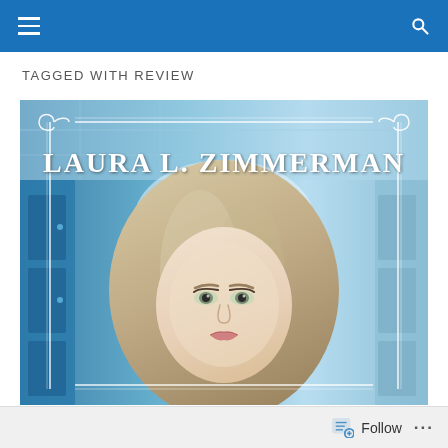Navigation bar with menu and search icons
TAGGED WITH REVIEW
[Figure (photo): Book cover for Laura L. Zimmerman. Shows a blonde woman with light eyes against a blurred school hallway background with lockers. Decorative white border with scrollwork corners. Author name 'LAURA L. ZIMMERMAN' in large white serif text at top.]
Follow ...